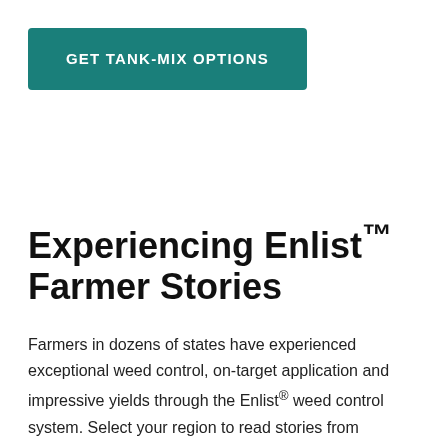[Figure (other): Teal/dark cyan rectangular button with white bold uppercase text reading GET TANK-MIX OPTIONS]
Experiencing Enlist™ Farmer Stories
Farmers in dozens of states have experienced exceptional weed control, on-target application and impressive yields through the Enlist® weed control system. Select your region to read stories from growers near you.